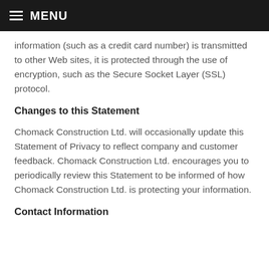≡ MENU
information (such as a credit card number) is transmitted to other Web sites, it is protected through the use of encryption, such as the Secure Socket Layer (SSL) protocol.
Changes to this Statement
Chomack Construction Ltd. will occasionally update this Statement of Privacy to reflect company and customer feedback. Chomack Construction Ltd. encourages you to periodically review this Statement to be informed of how Chomack Construction Ltd. is protecting your information.
Contact Information